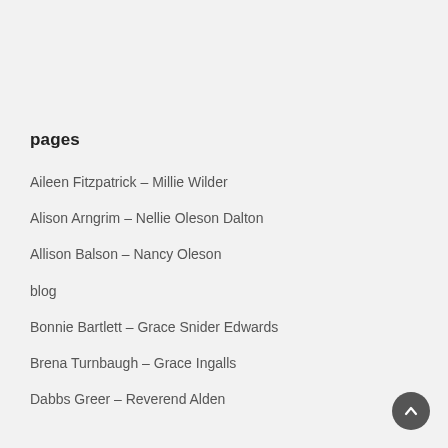pages
Aileen Fitzpatrick – Millie Wilder
Alison Arngrim – Nellie Oleson Dalton
Allison Balson – Nancy Oleson
blog
Bonnie Bartlett – Grace Snider Edwards
Brena Turnbaugh – Grace Ingalls
Dabbs Greer – Reverend Alden